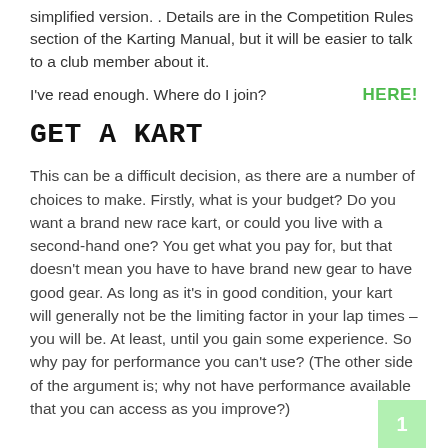simplified version. . Details are in the Competition Rules section of the Karting Manual, but it will be easier to talk to a club member about it.
I've read enough. Where do I join?    HERE!
GET A KART
This can be a difficult decision, as there are a number of choices to make. Firstly, what is your budget? Do you want a brand new race kart, or could you live with a second-hand one? You get what you pay for, but that doesn't mean you have to have brand new gear to have good gear. As long as it's in good condition, your kart will generally not be the limiting factor in your lap times – you will be. At least, until you gain some experience. So why pay for performance you can't use? (The other side of the argument is; why not have performance available that you can access as you improve?)
1